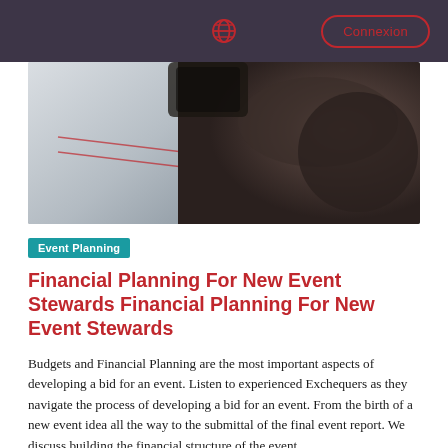Connexion
[Figure (photo): Blurred photograph of a person's hand holding or writing with a pen over a notebook or planner, dark tones with shallow depth of field]
Event Planning
Financial Planning For New Event Stewards Financial Planning For New Event Stewards
Budgets and Financial Planning are the most important aspects of developing a bid for an event. Listen to experienced Exchequers as they navigate the process of developing a bid for an event. From the birth of a new event idea all the way to the submittal of the final event report. We discuss building the financial structure of the event